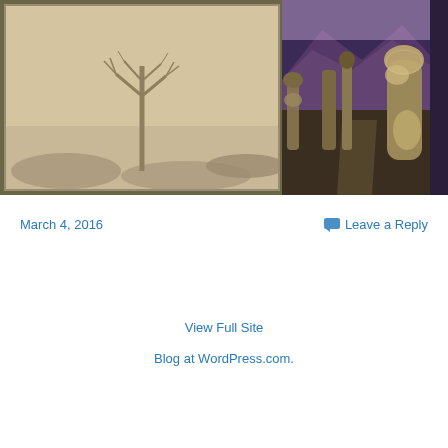[Figure (photo): Left: sepia-toned desert landscape with bare dead tree and scrub brush. Right: color photo of desert cactus (cholla) with hills in background.]
March 4, 2016
Leave a Reply
View Full Site
Blog at WordPress.com.